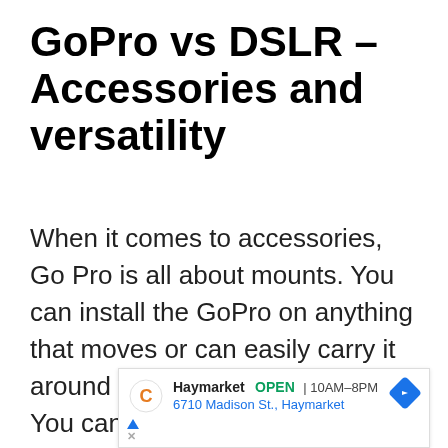GoPro vs DSLR – Accessories and versatility
When it comes to accessories, Go Pro is all about mounts. You can install the GoPro on anything that moves or can easily carry it around with you as you travel. You can buy
[Figure (other): Advertisement panel showing Haymarket store location: OPEN 10AM–8PM, 6710 Madison St., Haymarket, with a navigation arrow icon and Google Maps style branding]